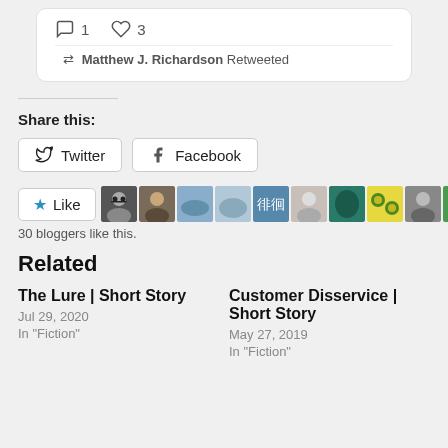[Figure (screenshot): Top of a social media card showing comment icon with 1 and heart icon with 3, plus a retweet notice 'Matthew J. Richardson Retweeted']
Share this:
[Figure (screenshot): Share buttons: Twitter and Facebook]
[Figure (screenshot): Like button with star icon and a strip of 10 blogger avatar thumbnails]
30 bloggers like this.
Related
The Lure | Short Story
Jul 29, 2020
In "Fiction"
Customer Disservice | Short Story
May 27, 2019
In "Fiction"